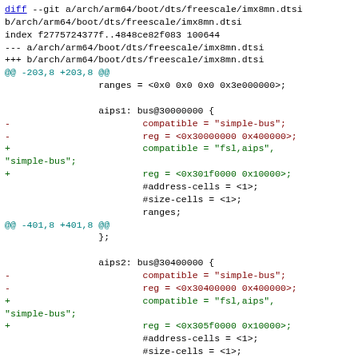diff --git a/arch/arm64/boot/dts/freescale/imx8mn.dtsi b/arch/arm64/boot/dts/freescale/imx8mn.dtsi
index f2775724377f..4848ce82f083 100644
--- a/arch/arm64/boot/dts/freescale/imx8mn.dtsi
+++ b/arch/arm64/boot/dts/freescale/imx8mn.dtsi
@@ -203,8 +203,8 @@
                 ranges = <0x0 0x0 0x0 0x3e000000>;

                 aips1: bus@30000000 {
-                        compatible = "simple-bus";
-                        reg = <0x30000000 0x400000>;
+                        compatible = "fsl,aips",
"simple-bus";
+                        reg = <0x301f0000 0x10000>;
                         #address-cells = <1>;
                         #size-cells = <1>;
                         ranges;
@@ -401,8 +401,8 @@
                 };

                 aips2: bus@30400000 {
-                        compatible = "simple-bus";
-                        reg = <0x30400000 0x400000>;
+                        compatible = "fsl,aips",
"simple-bus";
+                        reg = <0x305f0000 0x10000>;
                         #address-cells = <1>;
                         #size-cells = <1>;
                         ranges;
@@ -461,8 +461,8 @@